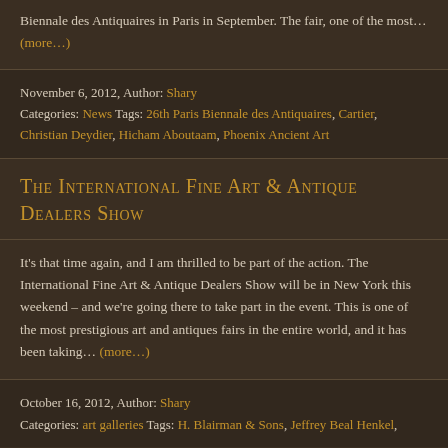Biennale des Antiquaires in Paris in September. The fair, one of the most… (more…)
November 6, 2012, Author: Shary Categories: News Tags: 26th Paris Biennale des Antiquaires, Cartier, Christian Deydier, Hicham Aboutaam, Phoenix Ancient Art
The International Fine Art & Antique Dealers Show
It's that time again, and I am thrilled to be part of the action. The International Fine Art & Antique Dealers Show will be in New York this weekend – and we're going there to take part in the event. This is one of the most prestigious art and antiques fairs in the entire world, and it has been taking… (more…)
October 16, 2012, Author: Shary Categories: art galleries Tags: H. Blairman & Sons, Jeffrey Beal Henkel,